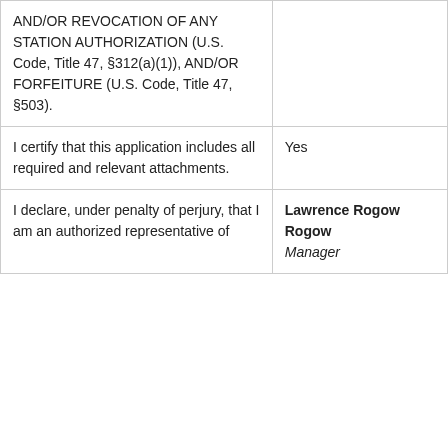| AND/OR REVOCATION OF ANY STATION AUTHORIZATION (U.S. Code, Title 47, §312(a)(1)), AND/OR FORFEITURE (U.S. Code, Title 47, §503). |  |
| I certify that this application includes all required and relevant attachments. | Yes |
| I declare, under penalty of perjury, that I am an authorized representative of | Lawrence Rogow
Rowow
Manager |